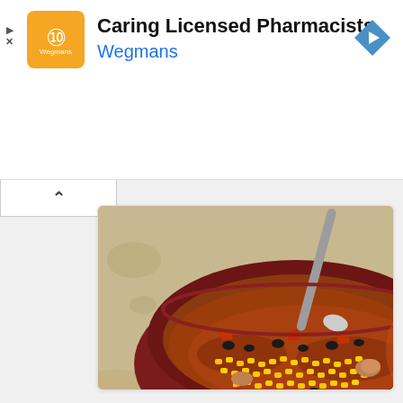[Figure (logo): Wegmans orange logo with decorative symbol]
Caring Licensed Pharmacists
Wegmans
[Figure (photo): A dark red bowl filled with taco soup containing corn, black beans, kidney beans, tomatoes, and broth, with a metal spoon, on a granite countertop]
Ninja Foodi Weight Watcher Taco Soup